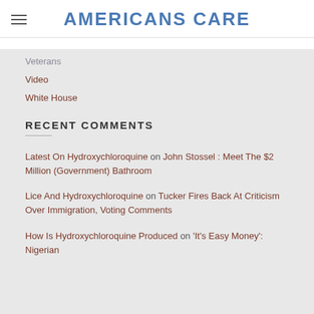AMERICANS CARE
Veterans
Video
White House
RECENT COMMENTS
Latest On Hydroxychloroquine on John Stossel : Meet The $2 Million (Government) Bathroom
Lice And Hydroxychloroquine on Tucker Fires Back At Criticism Over Immigration, Voting Comments
How Is Hydroxychloroquine Produced on 'It's Easy Money': Nigerian